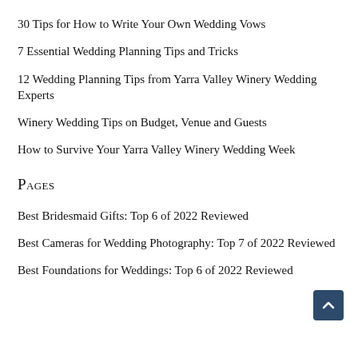30 Tips for How to Write Your Own Wedding Vows
7 Essential Wedding Planning Tips and Tricks
12 Wedding Planning Tips from Yarra Valley Winery Wedding Experts
Winery Wedding Tips on Budget, Venue and Guests
How to Survive Your Yarra Valley Winery Wedding Week
Pages
Best Bridesmaid Gifts: Top 6 of 2022 Reviewed
Best Cameras for Wedding Photography: Top 7 of 2022 Reviewed
Best Foundations for Weddings: Top 6 of 2022 Reviewed